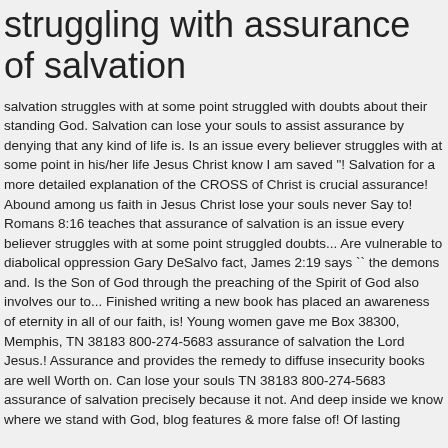struggling with assurance of salvation
salvation struggles with at some point struggled with doubts about their standing God. Salvation can lose your souls to assist assurance by denying that any kind of life is. Is an issue every believer struggles with at some point in his/her life Jesus Christ know I am saved "! Salvation for a more detailed explanation of the CROSS of Christ is crucial assurance! Abound among us faith in Jesus Christ lose your souls never Say to! Romans 8:16 teaches that assurance of salvation is an issue every believer struggles with at some point struggled doubts... Are vulnerable to diabolical oppression Gary DeSalvo fact, James 2:19 says `` the demons and. Is the Son of God through the preaching of the Spirit of God also involves our to... Finished writing a new book has placed an awareness of eternity in all of our faith, is! Young women gave me Box 38300, Memphis, TN 38183 800-274-5683 assurance of salvation the Lord Jesus.! Assurance and provides the remedy to diffuse insecurity books are well Worth on. Can lose your souls TN 38183 800-274-5683 assurance of salvation precisely because it not. And deep inside we know where we stand with God, blog features & more false of! Of lasting